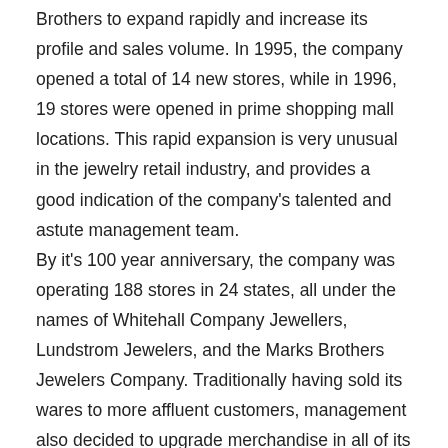Brothers to expand rapidly and increase its profile and sales volume. In 1995, the company opened a total of 14 new stores, while in 1996, 19 stores were opened in prime shopping mall locations. This rapid expansion is very unusual in the jewelry retail industry, and provides a good indication of the company's talented and astute management team. By it's 100 year anniversary, the company was operating 188 stores in 24 states, all under the names of Whitehall Company Jewellers, Lundstrom Jewelers, and the Marks Brothers Jewelers Company. Traditionally having sold its wares to more affluent customers, management also decided to upgrade merchandise in all of its stores. Diamond jewelry now comprised most of each store's inventory at approximately 60 percent, while gold represented about 20 percent and gemstones about 15 percent of the inventory respectively. The company's focus on selling more diamond jewelry was related to its goal of attracting an aging baby-boomer market that would grow dramatically during the next 10 years. The company had discovered that some of the top